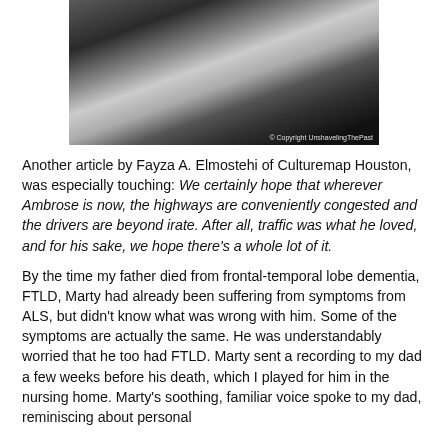[Figure (photo): Black and white photograph showing two people sitting, visible from the knees down, wearing dark clothing and white socks, outdoors on a surface. Copyright watermark reads '© Copyright UnshavelingThePast'.]
Another article by Fayza A. Elmostehi of Culturemap Houston, was especially touching: We certainly hope that wherever Ambrose is now, the highways are conveniently congested and the drivers are beyond irate. After all, traffic was what he loved, and for his sake, we hope there's a whole lot of it.

By the time my father died from frontal-temporal lobe dementia, FTLD, Marty had already been suffering from symptoms from ALS, but didn't know what was wrong with him. Some of the symptoms are actually the same. He was understandably worried that he too had FTLD. Marty sent a recording to my dad a few weeks before his death, which I played for him in the nursing home. Marty's soothing, familiar voice spoke to my dad, reminiscing about personal